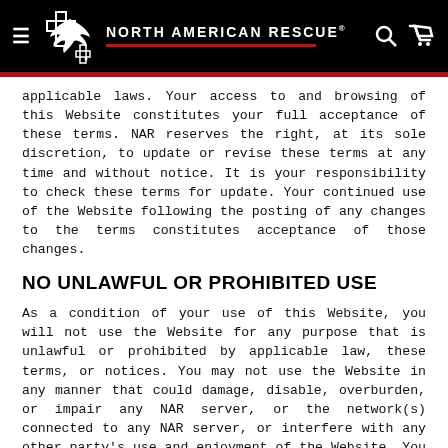North American Rescue
applicable laws. Your access to and browsing of this Website constitutes your full acceptance of these terms. NAR reserves the right, at its sole discretion, to update or revise these terms at any time and without notice. It is your responsibility to check these terms for update. Your continued use of the Website following the posting of any changes to the terms constitutes acceptance of those changes.
NO UNLAWFUL OR PROHIBITED USE
As a condition of your use of this Website, you will not use the Website for any purpose that is unlawful or prohibited by applicable law, these terms, or notices. You may not use the Website in any manner that could damage, disable, overburden, or impair any NAR server, or the network(s) connected to any NAR server, or interfere with any other party's use and enjoyment of the Website. You may not...